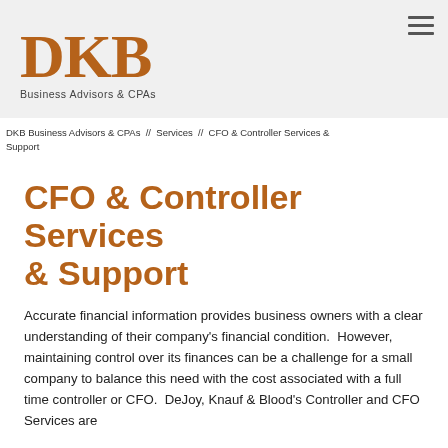DKB Business Advisors & CPAs
DKB Business Advisors & CPAs // Services // CFO & Controller Services & Support
CFO & Controller Services & Support
Accurate financial information provides business owners with a clear understanding of their company's financial condition.  However, maintaining control over its finances can be a challenge for a small company to balance this need with the cost associated with a full time controller or CFO.  DeJoy, Knauf & Blood's Controller and CFO Services are